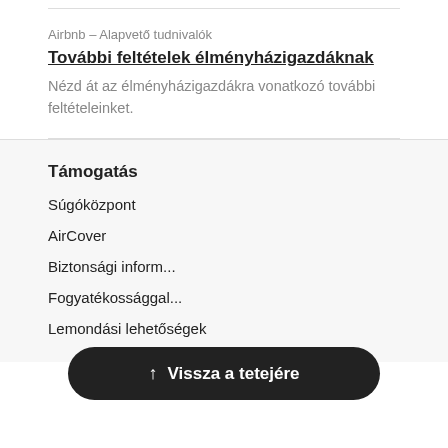Airbnb – Alapvető tudnivalók
További feltételek élményházigazdáknak
Nézd át az élményházigazdákra vonatkozó további feltételeinket.
Támogatás
Súgóközpont
AirCover
Biztonsági inform...
Fogyatékossággal...
Lemondási lehetőségek
↑ Vissza a tetejére